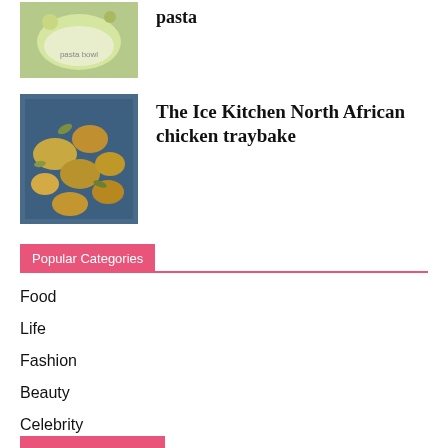[Figure (photo): Bowl of pasta with green herbs and cheese]
pasta
[Figure (photo): North African chicken traybake with potatoes and spices in a blue tray]
The Ice Kitchen North African chicken traybake
Popular Categories
Food
Life
Fashion
Beauty
Celebrity
Interiors